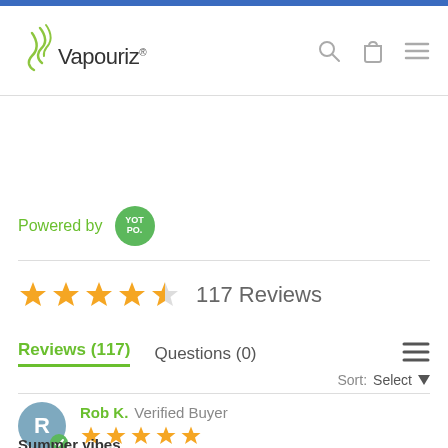[Figure (logo): Vapouriz logo with green flame/vapor icon and text]
[Figure (infographic): Header navigation icons: search, shopping bag, hamburger menu]
Powered by YOTPO
[Figure (infographic): 4.5 star rating with 117 Reviews]
Reviews (117)   Questions (0)
Sort: Select
Rob K. Verified Buyer
[Figure (infographic): 5 star rating for Rob K. review]
Summer vibes